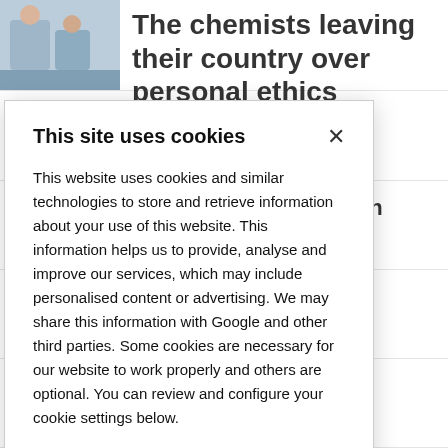[Figure (photo): Photo of people working, partially visible in top-left corner]
The chemists leaving their country over personal ethics
...zyme tackles
...thes electron in
...iral reagent in
...to chemistry ...s faster
This site uses cookies
This website uses cookies and similar technologies to store and retrieve information about your use of this website. This information helps us to provide, analyse and improve our services, which may include personalised content or advertising. We may share this information with Google and other third parties. Some cookies are necessary for our website to work properly and others are optional. You can review and configure your cookie settings below.
OK
COOKIE SETTINGS